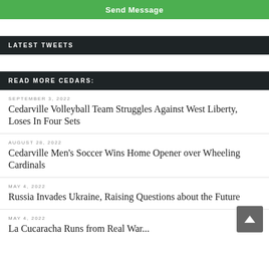Send Message
LATEST TWEETS
READ MORE CEDARS:
SEPTEMBER 3, 2022
Cedarville Volleyball Team Struggles Against West Liberty, Loses In Four Sets
AUGUST 28, 2022
Cedarville Men's Soccer Wins Home Opener over Wheeling Cardinals
MAY 4, 2022
Russia Invades Ukraine, Raising Questions about the Future
MAY 4, 2022
La Cucaracha Runs from Real War...